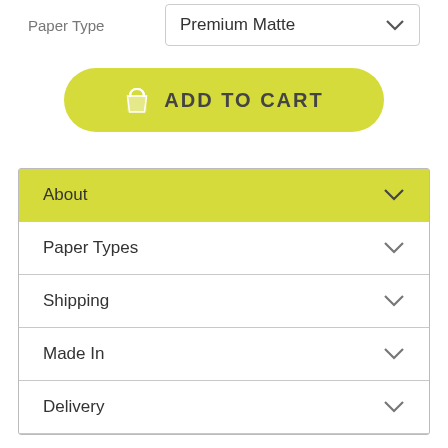Paper Type
Premium Matte
[Figure (other): Add to Cart button with shopping bag icon, yellow/lime background, rounded pill shape, text: ADD TO CART]
About
Paper Types
Shipping
Made In
Delivery
Designed by professionals, this Manhattan City Map Art